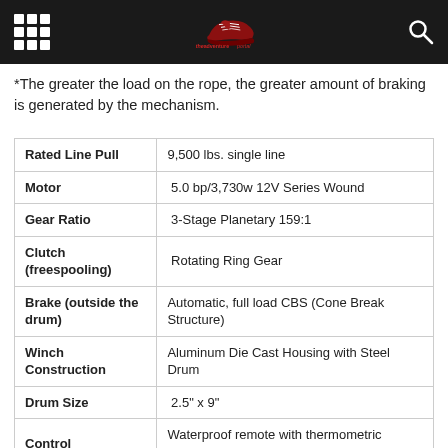theadventureportal
*The greater the load on the rope, the greater amount of braking is generated by the mechanism.
| Feature | Specification |
| --- | --- |
| Rated Line Pull | 9,500 lbs. single line |
| Motor | 5.0 bp/3,730w 12V Series Wound |
| Gear Ratio | 3-Stage Planetary 159:1 |
| Clutch (freespooling) | Rotating Ring Gear |
| Brake (outside the drum) | Automatic, full load CBS (Cone Break Structure) |
| Winch Construction | Aluminum Die Cast Housing with Steel Drum |
| Drum Size | 2.5" x 9" |
| Control | Waterproof remote with thermometric indicator LED w/17' cord |
| Rope Type | Synthetic  SK-75 |
| Mounting Bolt | 10" x 4.5" |